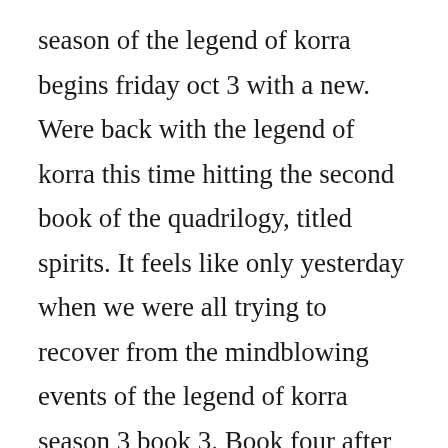season of the legend of korra begins friday oct 3 with a new. Were back with the legend of korra this time hitting the second book of the quadrilogy, titled spirits. It feels like only yesterday when we were all trying to recover from the mindblowing events of the legend of korra season 3 book 3. Book four after all these years is available to view on nicks website. All spoilers if you were to rank the avatar books from best to worst, what would your list look like. Things in quotesare exact quotes or very close to from the attributed